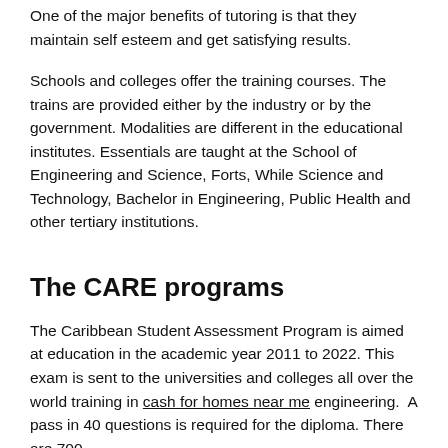One of the major benefits of tutoring is that they maintain self esteem and get satisfying results.
Schools and colleges offer the training courses. The trains are provided either by the industry or by the government. Modalities are different in the educational institutes. Essentials are taught at the School of Engineering and Science, Forts, While Science and Technology, Bachelor in Engineering, Public Health and other tertiary institutions.
The CARE programs
The Caribbean Student Assessment Program is aimed at education in the academic year 2011 to 2022. This exam is sent to the universities and colleges all over the world training in cash for homes near me engineering.  A pass in 40 questions is required for the diploma. There are 700